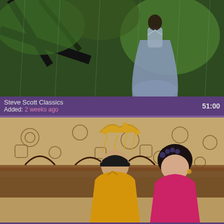[Figure (photo): Video thumbnail showing a person in a gray dress standing in a green forested outdoor setting]
Steve Scott Classics
Added: 2 weeks ago
51:00
[Figure (photo): Video thumbnail showing two people in traditional East Asian costumes in an ornate interior setting]